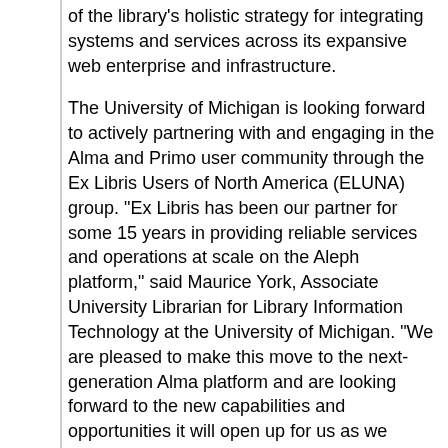of the library's holistic strategy for integrating systems and services across its expansive web enterprise and infrastructure.
The University of Michigan is looking forward to actively partnering with and engaging in the Alma and Primo user community through the Ex Libris Users of North America (ELUNA) group. "Ex Libris has been our partner for some 15 years in providing reliable services and operations at scale on the Aleph platform," said Maurice York, Associate University Librarian for Library Information Technology at the University of Michigan. "We are pleased to make this move to the next-generation Alma platform and are looking forward to the new capabilities and opportunities it will open up for us as we continually evolve our services to the university."
"Ex Libris welcomes the University of Michigan, a world-class research institution, to the Alma and Primo user communities," added Eric Hines, president of Ex Libris North America. "With its massive collection, the Michigan library will benefit from operational efficiencies and advanced features built into the Alma system."
About the University of Michigan Library